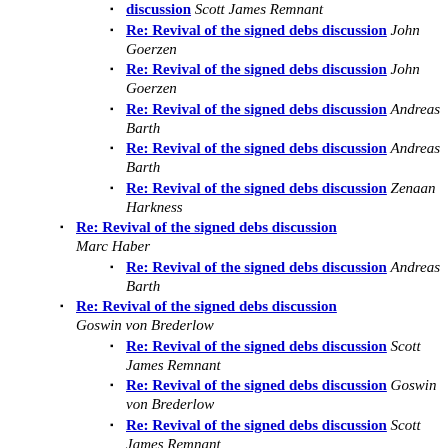Re: Revival of the signed debs discussion Scott James Remnant
Re: Revival of the signed debs discussion John Goerzen
Re: Revival of the signed debs discussion John Goerzen
Re: Revival of the signed debs discussion Andreas Barth
Re: Revival of the signed debs discussion Andreas Barth
Re: Revival of the signed debs discussion Zenaan Harkness
Re: Revival of the signed debs discussion Marc Haber
Re: Revival of the signed debs discussion Andreas Barth
Re: Revival of the signed debs discussion Goswin von Brederlow
Re: Revival of the signed debs discussion Scott James Remnant
Re: Revival of the signed debs discussion Goswin von Brederlow
Re: Revival of the signed debs discussion Scott James Remnant
Re: Revival of the signed debs discussion Goswin von Brederlow